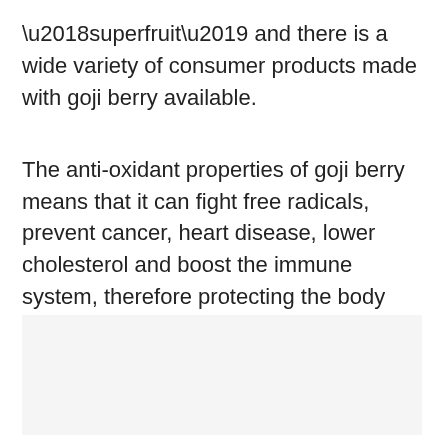‘superfruit’ and there is a wide variety of consumer products made with goji berry available.
The anti-oxidant properties of goji berry means that it can fight free radicals, prevent cancer, heart disease, lower cholesterol and boost the immune system, therefore protecting the body from various other illnesses.
[Figure (other): Empty light gray rectangular area, likely placeholder for an image.]